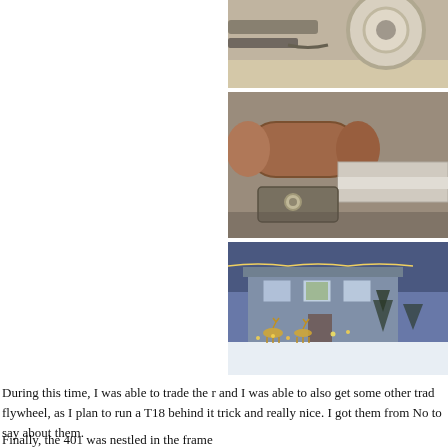[Figure (photo): Partial view of vehicle undercarriage/wheel area, top right of page, partially cropped]
[Figure (photo): Close-up photo of vehicle mechanical parts, rust-colored cylindrical component and metal frame parts]
[Figure (photo): Outdoor winter scene of a house with Christmas light decorations and snow on the ground]
During this time, I was able to trade the r and I was able to also get some other trad flywheel, as I plan to run a T18 behind it trick and really nice. I got them from No to say about them.
Finally, the 401 was nestled in the frame